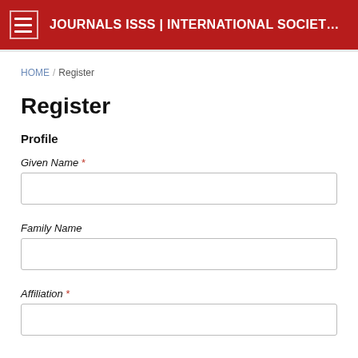JOURNALS ISSS | INTERNATIONAL SOCIETY FOR T...
HOME / Register
Register
Profile
Given Name *
Family Name
Affiliation *